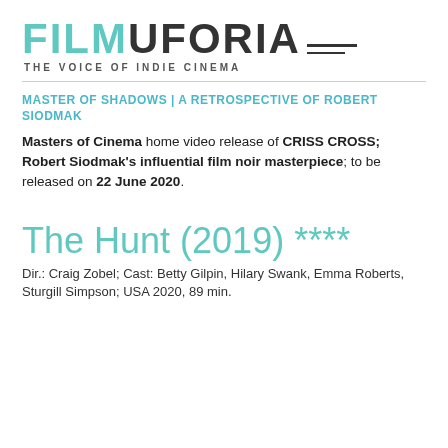[Figure (logo): Filmuforia logo with tagline THE VOICE OF INDIE CINEMA and two horizontal lines]
MASTER OF SHADOWS | A RETROSPECTIVE OF ROBERT SIODMAK
Masters of Cinema home video release of CRISS CROSS; Robert Siodmak's influential film noir masterpiece; to be released on 22 June 2020.
The Hunt (2019) ****
Dir.: Craig Zobel; Cast: Betty Gilpin, Hilary Swank, Emma Roberts, Sturgill Simpson; USA 2020, 89 min.